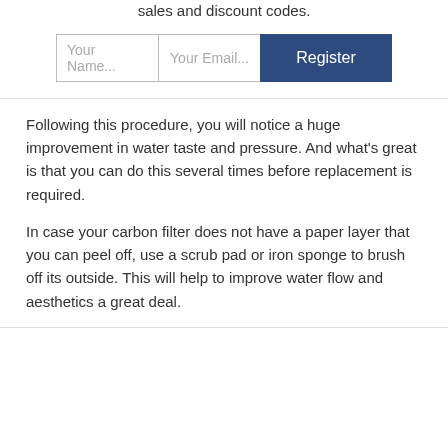about new guides & checklists, exclusive product sales and discount codes.
[Figure (other): A registration form with two text input fields labeled 'Your Name...' and 'Your Email...' and a dark blue button labeled 'Register']
Following this procedure, you will notice a huge improvement in water taste and pressure. And what’s great is that you can do this several times before replacement is required.
In case your carbon filter does not have a paper layer that you can peel off, use a scrub pad or iron sponge to brush off its outside. This will help to improve water flow and aesthetics a great deal.